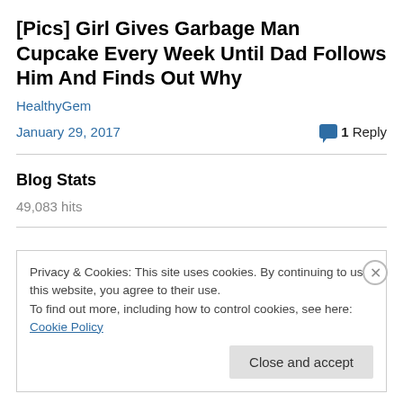[Pics] Girl Gives Garbage Man Cupcake Every Week Until Dad Follows Him And Finds Out Why
HealthyGem
January 29, 2017
1 Reply
Blog Stats
49,083 hits
Privacy & Cookies: This site uses cookies. By continuing to use this website, you agree to their use.
To find out more, including how to control cookies, see here: Cookie Policy
Close and accept